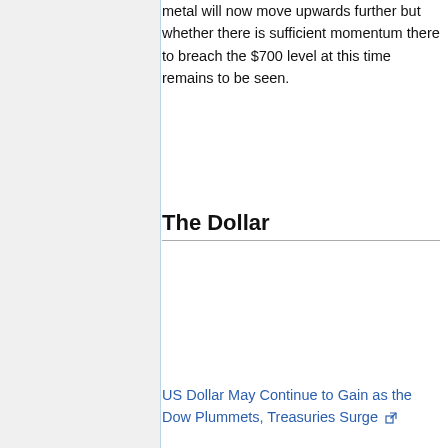metal will now move upwards further but whether there is sufficient momentum there to breach the $700 level at this time remains to be seen.
The Dollar
US Dollar May Continue to Gain as the Dow Plummets, Treasuries Surge